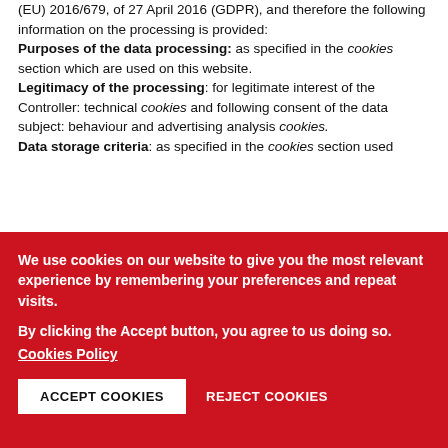(EU) 2016/679, of 27 April 2016 (GDPR), and therefore the following information on the processing is provided:
Purposes of the data processing: as specified in the cookies section which are used on this website.
Legitimacy of the processing: for legitimate interest of the Controller: technical cookies and following consent of the data subject: behaviour and advertising analysis cookies.
Data storage criteria: as specified in the cookies section used
We use cookies on our website to give you the most relevant experience by remembering your preferences and repeat visits.
By clicking the Accept button, you agree to us doing so.
Cookies Policy
ACCEPT COOKIES   REJECT COOKIES